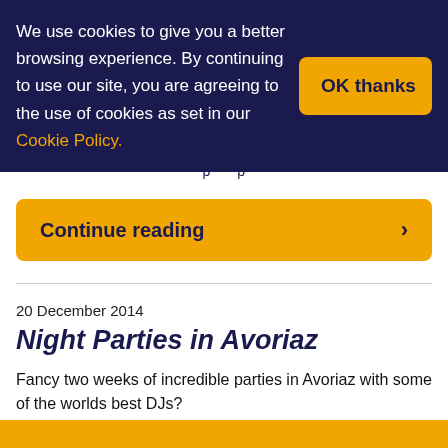We use cookies to give you a better browsing experience. By continuing to use our site, you are agreeing to the use of cookies as set in our Cookie Policy.
OK thanks
Continue reading
20 December 2014
Night Parties in Avoriaz
Fancy two weeks of incredible parties in Avoriaz with some of the worlds best DJs?